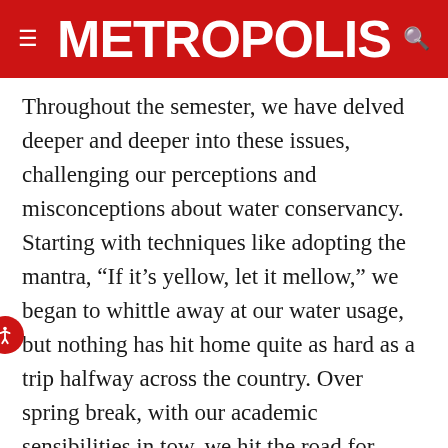METROPOLIS
Throughout the semester, we have delved deeper and deeper into these issues, challenging our perceptions and misconceptions about water conservancy. Starting with techniques like adopting the mantra, “If it’s yellow, let it mellow,” we began to whittle away at our water usage, but nothing has hit home quite as hard as a trip halfway across the country. Over spring break, with our academic sensibilities in tow, we hit the road for Oakland, California and a residential greywater installation.